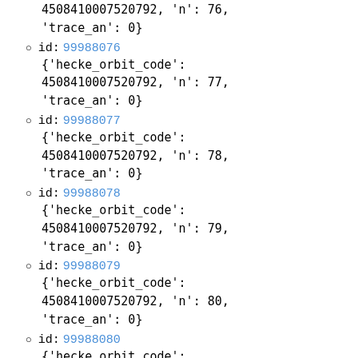'trace_an': 0}
id: 99988076
{'hecke_orbit_code': 4508410007520792, 'n': 77, 'trace_an': 0}
id: 99988077
{'hecke_orbit_code': 4508410007520792, 'n': 78, 'trace_an': 0}
id: 99988078
{'hecke_orbit_code': 4508410007520792, 'n': 79, 'trace_an': 0}
id: 99988079
{'hecke_orbit_code': 4508410007520792, 'n': 80, 'trace_an': 0}
id: 99988080
{'hecke_orbit_code': 4508410007520792, 'n': 81,